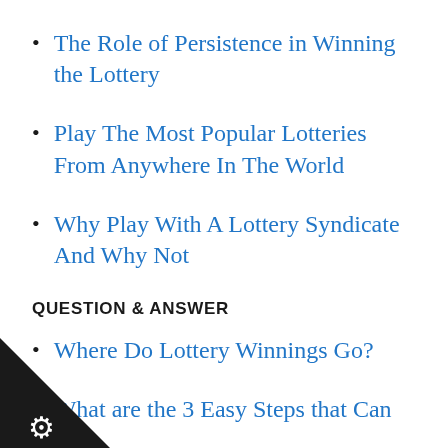The Role of Persistence in Winning the Lottery
Play The Most Popular Lotteries From Anywhere In The World
Why Play With A Lottery Syndicate And Why Not
QUESTION & ANSWER
Where Do Lottery Winnings Go?
What are the 3 Easy Steps that Can